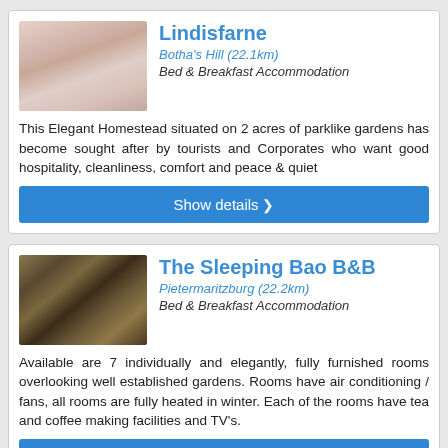Lindisfarne
Botha's Hill (22.1km)
Bed & Breakfast Accommodation
This Elegant Homestead situated on 2 acres of parklike gardens has become sought after by tourists and Corporates who want good hospitality, cleanliness, comfort and peace & quiet
The Sleeping Bao B&B
Pietermaritzburg (22.2km)
Bed & Breakfast Accommodation
Available are 7 individually and elegantly, fully furnished rooms overlooking well established gardens. Rooms have air conditioning / fans, all rooms are fully heated in winter. Each of the rooms have tea and coffee making facilities and TV's.